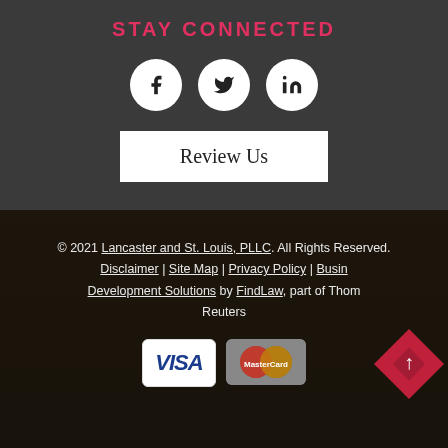STAY CONNECTED
[Figure (illustration): Three social media icon circles: Facebook (f), Twitter (bird), LinkedIn (in)]
Review Us
© 2021 Lancaster and St. Louis, PLLC. All Rights Reserved. Disclaimer | Site Map | Privacy Policy | Business Development Solutions by FindLaw, part of Thomson Reuters
[Figure (illustration): VISA and MasterCard payment icons]